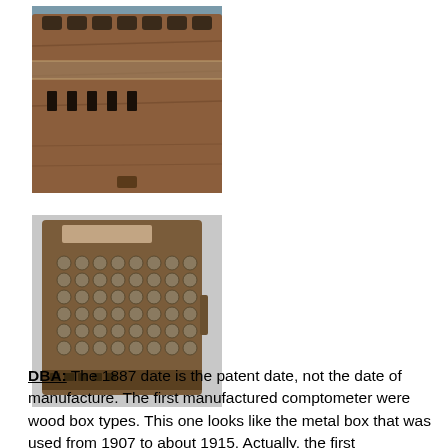[Figure (photo): Close-up photograph of the top/side of an antique wooden comptometer calculator showing keys and metal hardware, brownish worn surface on blue background]
[Figure (photo): Photograph of an antique metal box comptometer calculator with grid of round keys arranged in rows and columns, brownish worn metal casing, on white/grey background]
DBA: The 1887 date is the patent date, not the date of manufacture. The first manufactured comptometer were wood box types. This one looks like the metal box that was used from 1907 to about 1915. Actually, the first